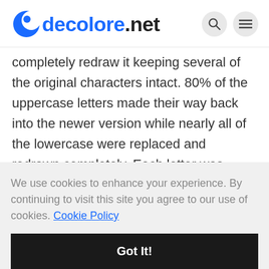decolore.net
completely redraw it keeping several of the original characters intact. 80% of the uppercase letters made their way back into the newer version while nearly all of the lowercase were replaced and redrawn completely. Each letter was carefully re-edited for maximum sharpness and magnification at large sizes. Cyrillic characters were added
We use cookies to enhance your experience. By continuing to visit this site you agree to our use of cookies. Cookie Policy
Got It!